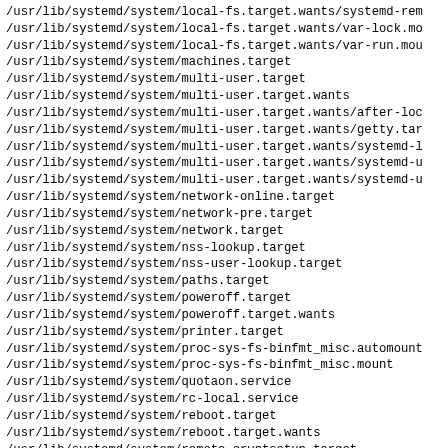/usr/lib/systemd/system/local-fs.target.wants/systemd-remount-fs.service
/usr/lib/systemd/system/local-fs.target.wants/var-lock.mount
/usr/lib/systemd/system/local-fs.target.wants/var-run.mount
/usr/lib/systemd/system/machines.target
/usr/lib/systemd/system/multi-user.target
/usr/lib/systemd/system/multi-user.target.wants
/usr/lib/systemd/system/multi-user.target.wants/after-local.service
/usr/lib/systemd/system/multi-user.target.wants/getty.target
/usr/lib/systemd/system/multi-user.target.wants/systemd-logind.service
/usr/lib/systemd/system/multi-user.target.wants/systemd-user-sessions.service
/usr/lib/systemd/system/multi-user.target.wants/systemd-userdbd.socket
/usr/lib/systemd/system/network-online.target
/usr/lib/systemd/system/network-pre.target
/usr/lib/systemd/system/network.target
/usr/lib/systemd/system/nss-lookup.target
/usr/lib/systemd/system/nss-user-lookup.target
/usr/lib/systemd/system/paths.target
/usr/lib/systemd/system/poweroff.target
/usr/lib/systemd/system/poweroff.target.wants
/usr/lib/systemd/system/printer.target
/usr/lib/systemd/system/proc-sys-fs-binfmt_misc.automount
/usr/lib/systemd/system/proc-sys-fs-binfmt_misc.mount
/usr/lib/systemd/system/quotaon.service
/usr/lib/systemd/system/rc-local.service
/usr/lib/systemd/system/reboot.target
/usr/lib/systemd/system/reboot.target.wants
/usr/lib/systemd/system/remote-cryptsetup.target
/usr/lib/systemd/system/remote-fs-pre.target
/usr/lib/systemd/system/remote-fs.target
/usr/lib/systemd/system/remote-fs.target.wants